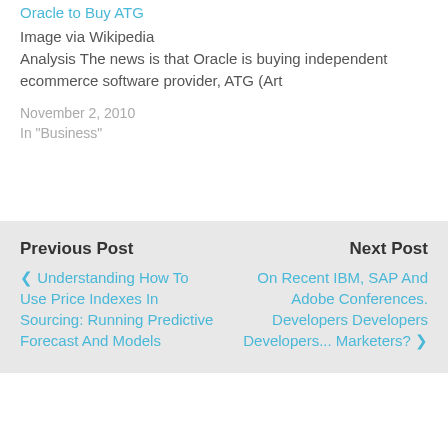Oracle to Buy ATG
Image via Wikipedia
Analysis The news is that Oracle is buying independent ecommerce software provider, ATG (Art
November 2, 2010
In "Business"
Previous Post
< Understanding How To Use Price Indexes In Sourcing: Running Predictive Forecast And Models
Next Post
On Recent IBM, SAP And Adobe Conferences. Developers Developers Developers... Marketers? >
⇑ Back to top